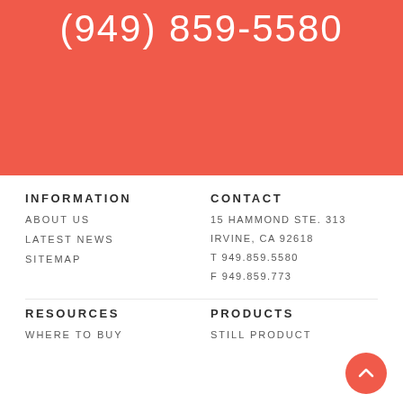(949) 859-5580
INFORMATION
ABOUT US
LATEST NEWS
SITEMAP
CONTACT
15 HAMMOND STE. 313
IRVINE, CA 92618
T 949.859.5580
F 949.859.773
RESOURCES
WHERE TO BUY
PRODUCTS
STILL PRODUCT